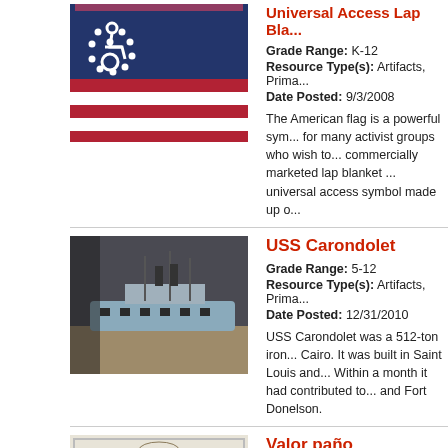Universal Access Lap Bla...
Grade Range: K-12
Resource Type(s): Artifacts, Prima...
Date Posted: 9/3/2008
The American flag is a powerful sym... for many activist groups who wish to... commercially marketed lap blanket ... universal access symbol made up o...
[Figure (photo): Photo of a lap blanket styled as an American flag with the universal access (wheelchair) symbol made of white dots on the blue canton.]
USS Carondolet
Grade Range: 5-12
Resource Type(s): Artifacts, Prima...
Date Posted: 12/31/2010
USS Carondolet was a 512-ton iron... Cairo. It was built in Saint Louis ano... Within a month it had contributed to... and Fort Donelson.
[Figure (photo): Photo of a model of the USS Carondolet ironclad gunboat on a table.]
Valor paño
Grade Range: K-12
Resource Type(s): Artifacts, Prima...
[Figure (photo): Photo of a textile/paño with a decorative printed or embroidered design featuring a portrait and floral motifs.]